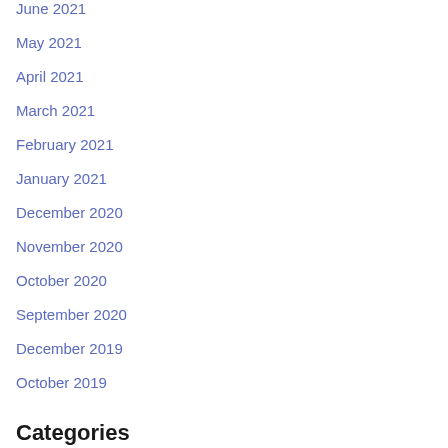June 2021
May 2021
April 2021
March 2021
February 2021
January 2021
December 2020
November 2020
October 2020
September 2020
December 2019
October 2019
Categories